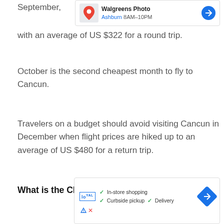[Figure (screenshot): Walgreens Photo ad banner showing map pin icon, store name, Ashburn 8AM-10PM hours, and a blue circular directions icon]
September, with an average of US $322 for a round trip.
October is the second cheapest month to fly to Cancun.
Travelers on a budget should avoid visiting Cancun in December when flight prices are hiked up to an average of US $480 for a return trip.
What is the Cheapest Day of the Week to Fly to
[Figure (screenshot): Loyal brand ad showing checkmarks for In-store shopping, Curbside pickup, Delivery, and a blue diamond navigation icon]